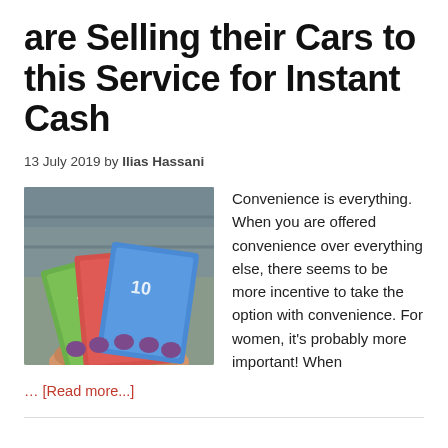are Selling their Cars to this Service for Instant Cash
13 July 2019 by Ilias Hassani
[Figure (photo): Hands holding Australian dollar banknotes (100, 20, 10 denominations) with purple nail polish, set against a blurred indoor background]
Convenience is everything. When you are offered convenience over everything else, there seems to be more incentive to take the option with convenience. For women, it's probably more important! When
… [Read more...]